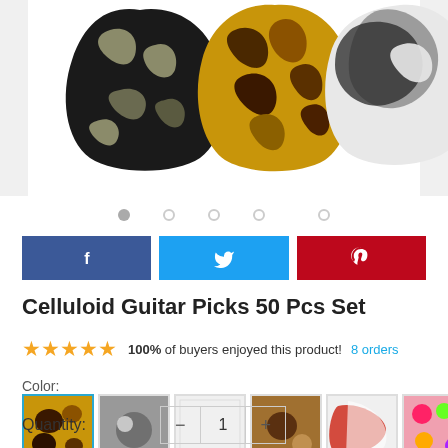[Figure (photo): Product photo showing three celluloid guitar picks: one black camouflage pattern, one tortoise shell amber/brown, and one black and white swirl pattern]
[Figure (other): Carousel navigation dots: 5 dots, first one filled/dark, rest are outlines]
[Figure (other): Three social media share buttons: Facebook (blue), Twitter (light blue), Pinterest (red)]
Celluloid Guitar Picks 50 Pcs Set
100% of buyers enjoyed this product!  8 orders
Color:
[Figure (other): Color swatches showing 7 different guitar pick color options plus a navigation arrow]
Quantity:  −  1  +